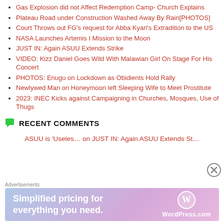Gas Explosion did not Affect Redemption Camp- Church Explains
Plateau Road under Construction Washed Away By Rain[PHOTOS]
Court Throws out FG's request for Abba Kyari's Extradition to the US
NASA Launches Artemis I Mission to the Moon
JUST IN: Again ASUU Extends Strike
VIDEO: Kizz Daniel Goes Wild With Malawian Girl On Stage For His Concert
PHOTOS: Enugu on Lockdown as Obidients Hold Rally
Newlywed Man on Honeymoon left Sleeping Wife to Meet Prostitute
2023: INEC Kicks against Campaigning in Churches, Mosques, Use of Thugs
RECENT COMMENTS
ASUU is 'Useles... on JUST IN: Again ASUU Extends St...
[Figure (other): WordPress.com advertisement banner: 'Simplified pricing for everything you need.' with WordPress.com logo]
Advertisements